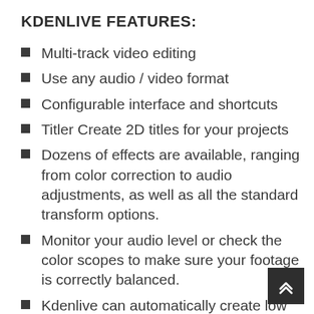KDENLIVE FEATURES:
Multi-track video editing
Use any audio / video format
Configurable interface and shortcuts
Titler Create 2D titles for your projects
Dozens of effects are available, ranging from color correction to audio adjustments, as well as all the standard transform options.
Monitor your audio level or check the color scopes to make sure your footage is correctly balanced.
Kdenlive can automatically create low resolution copies of your source clips to allow you doing the editing on